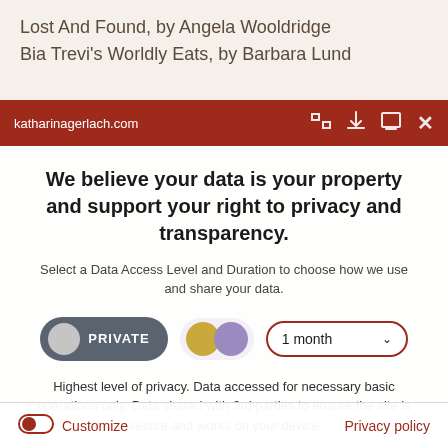Lost And Found, by Angela Wooldridge
Bia Trevi's Worldly Eats, by Barbara Lund
katharinagerlach.com
We believe your data is your property and support your right to privacy and transparency.
Select a Data Access Level and Duration to choose how we use and share your data.
PRIVATE | 1 month
Highest level of privacy. Data accessed for necessary basic operations only. Data shared with 3rd parties to ensure the site is secure and works on your device
Save my preferences
Customize
Privacy policy